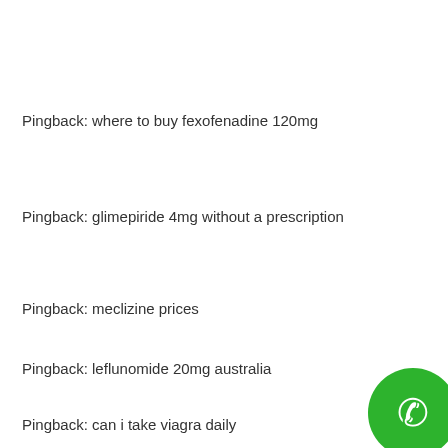Pingback: where to buy fexofenadine 120mg
Pingback: glimepiride 4mg without a prescription
Pingback: meclizine prices
Pingback: leflunomide 20mg australia
Pingback: can i take viagra daily
Pingback: ...